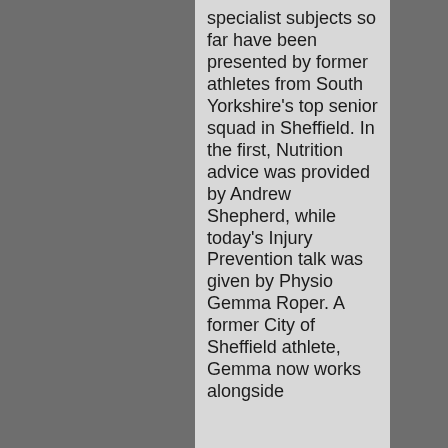specialist subjects so far have been presented by former athletes from South Yorkshire's top senior squad in Sheffield. In the first, Nutrition advice was provided by Andrew Shepherd, while today's Injury Prevention talk was given by Physio Gemma Roper. A former City of Sheffield athlete, Gemma now works alongside